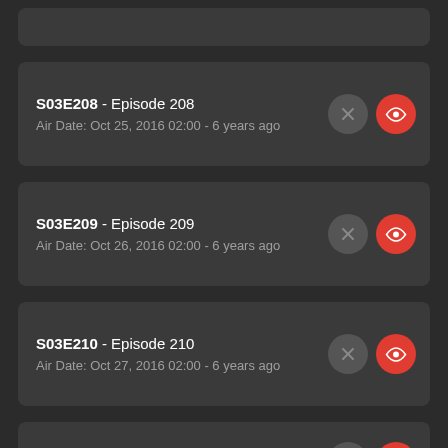S03E208 - Episode 208
Air Date: Oct 25, 2016 02:00 - 6 years ago
S03E209 - Episode 209
Air Date: Oct 26, 2016 02:00 - 6 years ago
S03E210 - Episode 210
Air Date: Oct 27, 2016 02:00 - 6 years ago
S03E211 - Episode 211